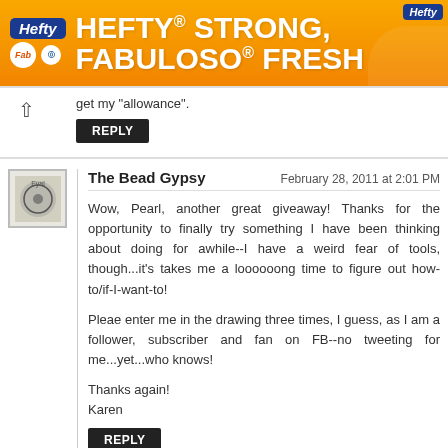[Figure (other): Hefty advertisement banner — orange background with text 'HEFTY STRONG, FABULOSO FRESH', Hefty and Fabuloso logos visible on left, product image on right]
get my "allowance".
Reply
The Bead Gypsy
February 28, 2011 at 2:01 PM
Wow, Pearl, another great giveaway! Thanks for the opportunity to finally try something I have been thinking about doing for awhile--I have a weird fear of tools, though...it's takes me a loooooong time to figure out how-to/if-I-want-to!

Pleae enter me in the drawing three times, I guess, as I am a follower, subscriber and fan on FB--no tweeting for me...yet...who knows!

Thanks again!
Karen
Reply